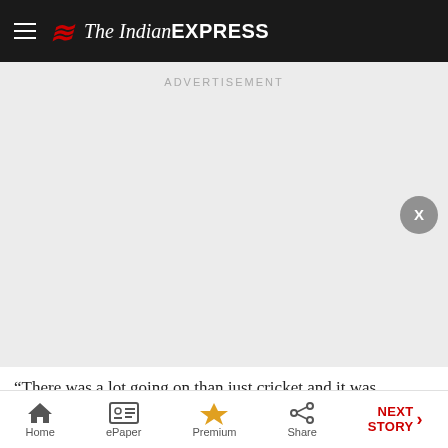The Indian EXPRESS
[Figure (other): Advertisement placeholder area with ADVERTISEMENT label and close X button]
“There was a lot going on than just cricket and it was
Home | ePaper | Premium | Share | NEXT STORY